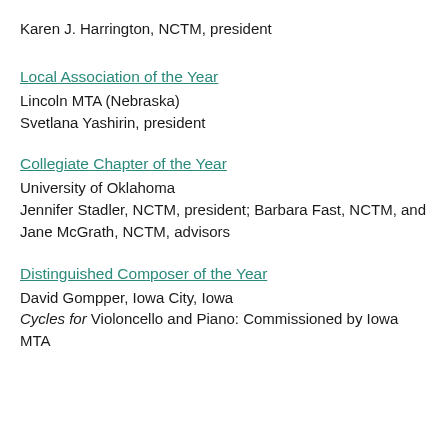Karen J. Harrington, NCTM, president
Local Association of the Year
Lincoln MTA (Nebraska)
Svetlana Yashirin, president
Collegiate Chapter of the Year
University of Oklahoma
Jennifer Stadler, NCTM, president; Barbara Fast, NCTM, and Jane McGrath, NCTM, advisors
Distinguished Composer of the Year
David Gompper, Iowa City, Iowa
Cycles for Violoncello and Piano: Commissioned by Iowa MTA